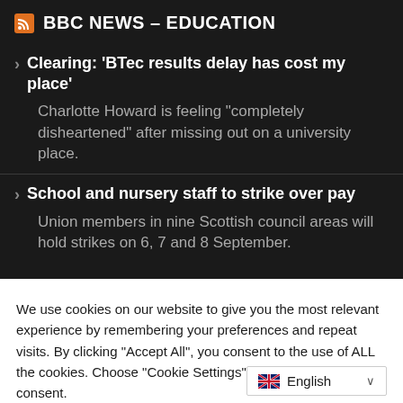BBC NEWS – EDUCATION
Clearing: 'BTec results delay has cost my place' — Charlotte Howard is feeling "completely disheartened" after missing out on a university place.
School and nursery staff to strike over pay — Union members in nine Scottish council areas will hold strikes on 6, 7 and 8 September.
We use cookies on our website to give you the most relevant experience by remembering your preferences and repeat visits. By clicking "Accept All", you consent to the use of ALL the cookies. Choose "Cookie Settings" to provide controlled consent.